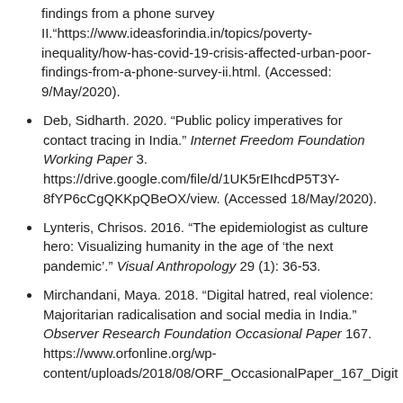findings from a phone survey II.“https://www.ideasforindia.in/topics/poverty-inequality/how-has-covid-19-crisis-affected-urban-poor-findings-from-a-phone-survey-ii.html. (Accessed: 9/May/2020).
Deb, Sidharth. 2020. “Public policy imperatives for contact tracing in India.” Internet Freedom Foundation Working Paper 3. https://drive.google.com/file/d/1UK5rEIhcdP5T3Y-8fYP6cCgQKKpQBeOX/view. (Accessed 18/May/2020).
Lynteris, Chrisos. 2016. “The epidemiologist as culture hero: Visualizing humanity in the age of ‘the next pandemic’.” Visual Anthropology 29 (1): 36-53.
Mirchandani, Maya. 2018. “Digital hatred, real violence: Majoritarian radicalisation and social media in India.” Observer Research Foundation Occasional Paper 167. https://www.orfonline.org/wp-content/uploads/2018/08/ORF_OccasionalPaper_167_Digit